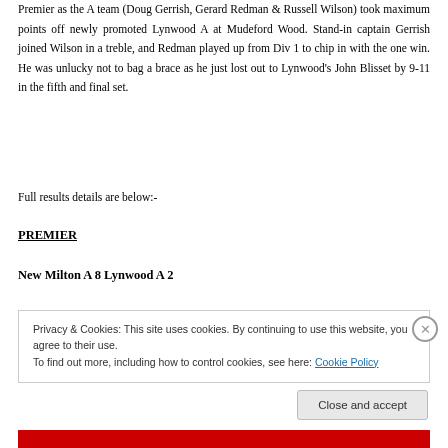Premier as the A team (Doug Gerrish, Gerard Redman & Russell Wilson) took maximum points off newly promoted Lynwood A at Mudeford Wood. Stand-in captain Gerrish joined Wilson in a treble, and Redman played up from Div 1 to chip in with the one win. He was unlucky not to bag a brace as he just lost out to Lynwood's John Blisset by 9-11 in the fifth and final set.
Full results details are below:-
PREMIER
New Milton A 8 Lynwood A 2
Privacy & Cookies: This site uses cookies. By continuing to use this website, you agree to their use.
To find out more, including how to control cookies, see here: Cookie Policy